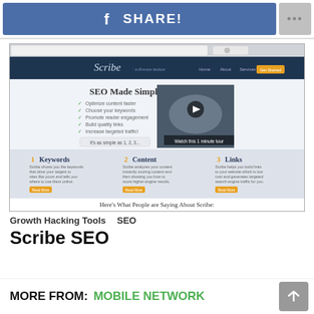[Figure (screenshot): Facebook Share button bar with 'f SHARE!' button in blue and a gray '...' more button]
[Figure (screenshot): Screenshot of the Scribe SEO website showing 'SEO Made Simple' headline, features list, video thumbnail, Keywords/Content/Links sections, and testimonials]
Growth Hacking Tools    SEO
Scribe SEO
MORE FROM:  MOBILE NETWORK